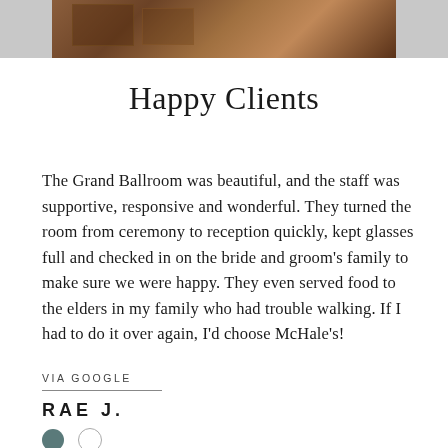[Figure (photo): Partial photo strip at the top showing what appears to be furniture or chairs in a ballroom, with gray bars on either side]
Happy Clients
The Grand Ballroom was beautiful, and the staff was supportive, responsive and wonderful. They turned the room from ceremony to reception quickly, kept glasses full and checked in on the bride and groom's family to make sure we were happy. They even served food to the elders in my family who had trouble walking. If I had to do it over again, I'd choose McHale's!
VIA GOOGLE
RAE J.